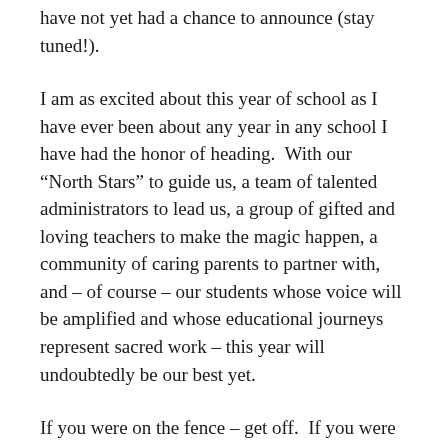have not yet had a chance to announce (stay tuned!).
I am as excited about this year of school as I have ever been about any year in any school I have had the honor of heading.  With our “North Stars” to guide us, a team of talented administrators to lead us, a group of gifted and loving teachers to make the magic happen, a community of caring parents to partner with, and – of course – our students whose voice will be amplified and whose educational journeys represent sacred work – this year will undoubtedly be our best yet.
If you were on the fence – get off.  If you were skeptical – believe.  The future of education is